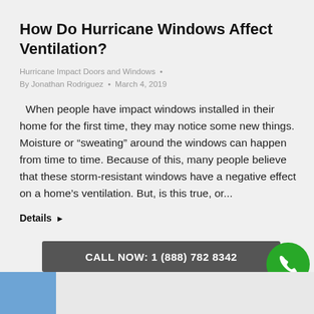How Do Hurricane Windows Affect Ventilation?
Hurricane Impact Doors and Windows · By Jonathan Rodriguez · March 4, 2019
When people have impact windows installed in their home for the first time, they may notice some new things. Moisture or “sweating” around the windows can happen from time to time. Because of this, many people believe that these storm-resistant windows have a negative effect on a home’s ventilation. But, is this true, or...
Details ▶
CALL NOW: 1 (888) 782 8342
[Figure (photo): Bottom image strip with partial photo of a person in blue and a lighter section]